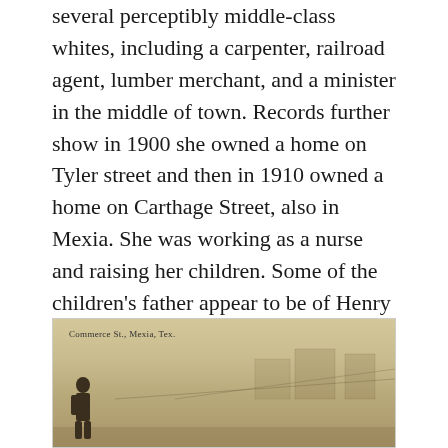several perceptibly middle-class whites, including a carpenter, railroad agent, lumber merchant, and a minister in the middle of town. Records further show in 1900 she owned a home on Tyler street and then in 1910 owned a home on Carthage Street, also in Mexia. She was working as a nurse and raising her children. Some of the children's father appear to be of Henry "Rufas" Demming, her first husband (her first marriage appeared to be in Freestone County). A seventh child may have been with a man named Hickman as her son Arthur Caldwell took the surname Hickman.
[Figure (photo): Historic sepia-toned photograph of Commerce St., Mexia, Tex. showing a street scene with a silhouette of a person and buildings/structures along the road.]